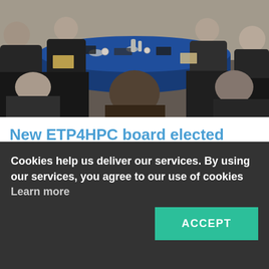[Figure (photo): A group of people in business attire seated around a blue conference table at a meeting, viewed from above and the side.]
New ETP4HPC board elected
Cookies help us deliver our services. By using our services, you agree to our use of cookies Learn more
ACCEPT